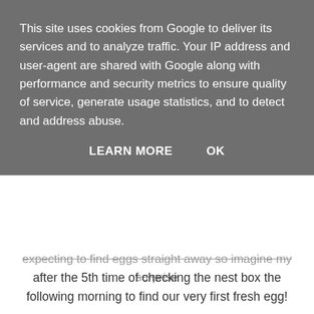expecting to find eggs straight away so imagine my surprise after the 5th time of checking the nest box the following morning to find our very first fresh egg!
[Figure (photo): Overhead view through chicken wire fencing showing a brown hen and a dark speckled hen on green grass with a white water container, and a human hand holding a small egg visible at the bottom of the frame.]
This site uses cookies from Google to deliver its services and to analyze traffic. Your IP address and user-agent are shared with Google along with performance and security metrics to ensure quality of service, generate usage statistics, and to detect and address abuse.
LEARN MORE   OK